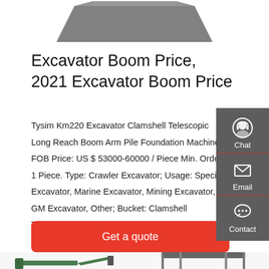[Figure (photo): Partial view of an excavator bucket/clamshell attachment against white background, cropped at top of page]
Excavator Boom Price, 2021 Excavator Boom Price
Tysim Km220 Excavator Clamshell Telescopic Long Reach Boom Arm Pile Foundation Machinery FOB Price: US $ 53000-60000 / Piece Min. Order: 1 Piece. Type: Crawler Excavator; Usage: Special Excavator, Marine Excavator, Mining Excavator, GM Excavator, Other; Bucket: Clamshell Telescopic Arm;
[Figure (infographic): Right-side dark gray sidebar with Chat (headset icon), Email (envelope icon), and Contact (chat bubble icon) buttons]
Get a quote
[Figure (photo): Bottom portion showing two product images: a green drilling machine on the left and a gray canopy/shelter structure on the right, partially visible]